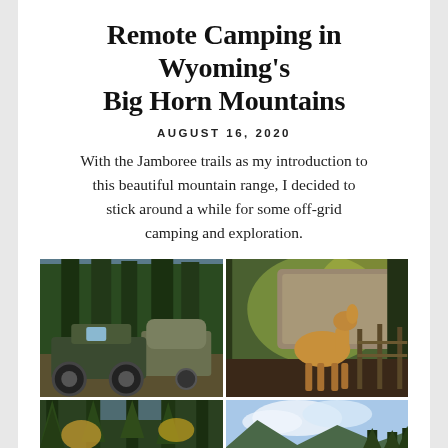Remote Camping in Wyoming's Big Horn Mountains
AUGUST 16, 2020
With the Jamboree trails as my introduction to this beautiful mountain range, I decided to stick around a while for some off-grid camping and exploration.
[Figure (photo): Four-photo grid: top-left shows a Jeep and camping trailer in a forest clearing; top-right shows a deer among trees and a wooden fence; bottom-left shows tall pine trees with autumn foliage; bottom-right shows a mountain landscape with blue sky and pine trees.]